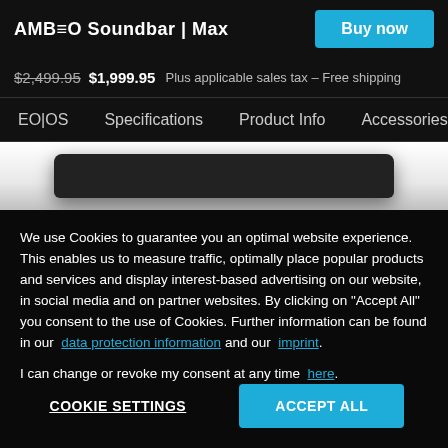AMBEO Soundbar | Max
$2,499.95  $1,999.95  Plus applicable sales tax – Free shipping
EO|OS   Specifications   Product Info   Accessories
[Figure (photo): AMBEO Soundbar Max product image, dark colored soundbar on white background]
We use Cookies to guarantee you an optimal website experience. This enables us to measure traffic, optimally place popular products and services and display interest-based advertising on our website, in social media and on partner websites. By clicking on "Accept All" you consent to the use of Cookies. Further information can be found in our data protection information and our imprint.
I can change or revoke my consent at any time here.
COOKIE SETTINGS    ACCEPT ALL